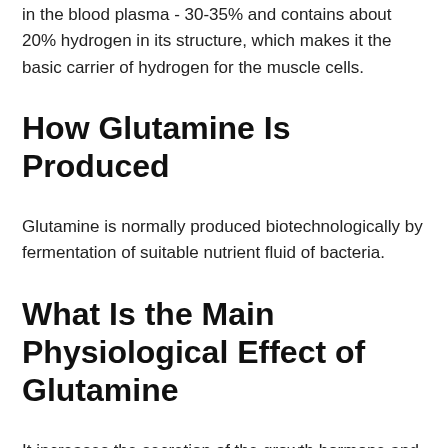in the blood plasma - 30-35% and contains about 20% hydrogen in its structure, which makes it the basic carrier of hydrogen for the muscle cells.
How Glutamine Is Produced
Glutamine is normally produced biotechnologically by fermentation of suitable nutrient fluid of bacteria.
What Is the Main Physiological Effect of Glutamine
It increases the secretion of the growth hormone and plays an important role in protein metabolism, for which it is renowned as a good supplement by